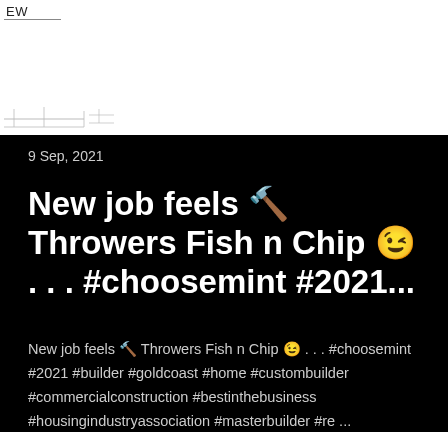[Figure (screenshot): Partial screenshot of a webpage or app interface showing 'EW' text label and a faint architectural/engineering sketch outline at the bottom of a white panel.]
9 Sep, 2021
New job feels 🔨 Throwers Fish n Chip 😉 . . . #choosemint #2021...
New job feels 🔨 Throwers Fish n Chip 😉 . . . #choosemint #2021 #builder #goldcoast #home #custombuilder #commercialconstruction #bestinthebusiness #housingindustryassociation #masterbuilder #re ...